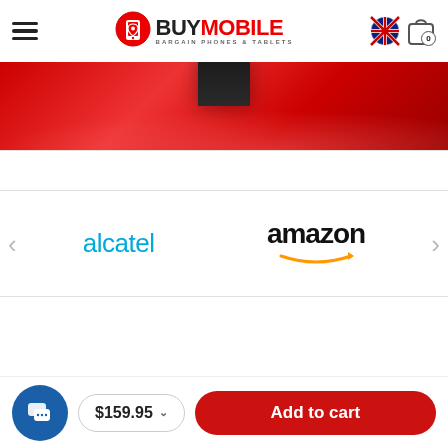BuyMobile - Bargain Phones & Tablets
[Figure (photo): Red hero banner with partial view of a dark smartphone at the top center against a vivid red gradient background]
[Figure (logo): Alcatel brand logo in light blue text]
[Figure (logo): Amazon brand logo in black text with orange smile arrow underneath]
$159.95
Add to cart